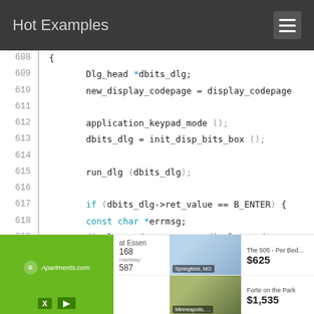Hot Examples
[Figure (screenshot): Code viewer showing C source code lines 608–622 with syntax highlighting]
[Figure (infographic): Advertisement banner for Apartments.com showing two apartment listings: 'The 505 - Per Bed...' at $625 in Springfield, MO and 'Forte on the Park' at $1,535 in Minneapolis]